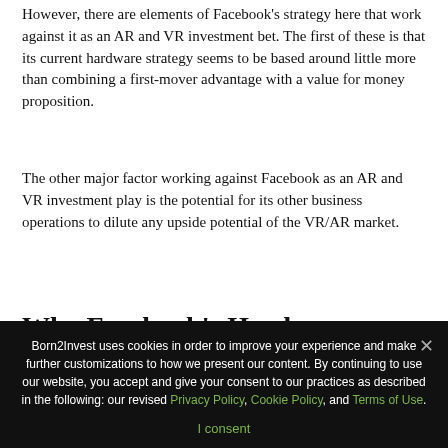However, there are elements of Facebook's strategy here that work against it as an AR and VR investment bet. The first of these is that its current hardware strategy seems to be based around little more than combining a first-mover advantage with a value for money proposition.
The other major factor working against Facebook as an AR and VR investment play is the potential for its other business operations to dilute any upside potential of the VR/AR market.
Why Facebook's Hardware
Born2Invest uses cookies in order to improve your experience and make further customizations to how we present our content. By continuing to use our website, you accept and give your consent to our practices as described in the following: our revised Privacy Policy, Cookie Policy, and Terms of Use.